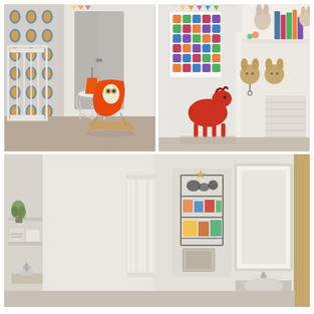[Figure (photo): Child's nursery room with colorful animal-print wallpaper, white crib, white wire side table, and an orange Eames-style rocking chair with an owl pillow. Warm neutral flooring.]
[Figure (photo): Child's nursery corner with animal alphabet poster on white wall, white shelf with stuffed animals and books, a red wooden rocking horse toy on carpet, a white radiator, and two wooden bunny head wall hooks.]
[Figure (photo): Bathroom interior with white tiled walls, vertical white column radiator, wall-mounted metal wire basket shelving, large rectangular mirror, bathroom sink with chrome tap, small shelf with plant, and wood-paneled door on the right.]